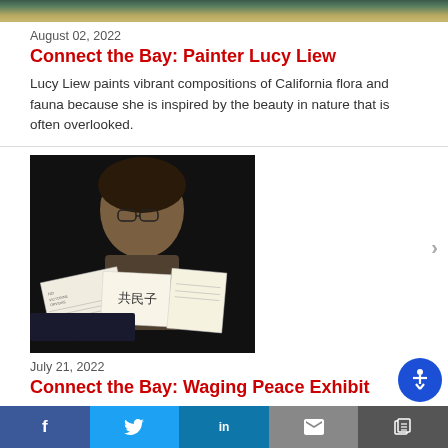[Figure (photo): Top portion of a decorative/art image cropped at top of page]
August 02, 2022
Connect the Bay: Painter Lucy Liew
Lucy Liew paints vibrant compositions of California flora and fauna because she is inspired by the beauty in nature that is often overlooked.
[Figure (photo): Black and white photograph showing a man holding papers including one with Chinese characters, in front of a large portrait photograph]
July 21, 2022
Connect the Bay: Waging Peace Exhibit